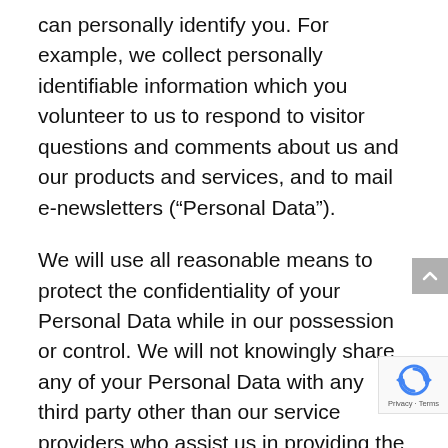can personally identify you. For example, we collect personally identifiable information which you volunteer to us to respond to visitor questions and comments about us and our products and services, and to mail e-newsletters (“Personal Data”).
We will use all reasonable means to protect the confidentiality of your Personal Data while in our possession or control. We will not knowingly share any of your Personal Data with any third party other than our service providers who assist us in providing the information and/or services we are providing to you. To the extent that we do share your personal information with a service provider, we would only do so if that party has agreed to comply with our privacy standards as described in this privacy p... Some of our service providers may be overseas and